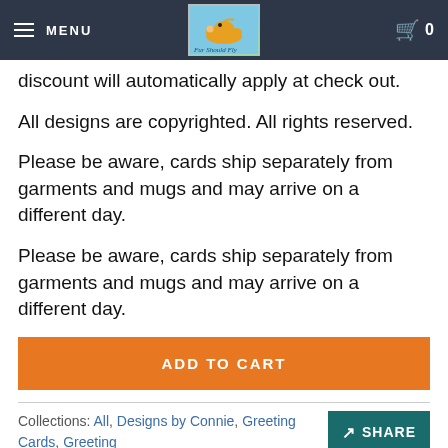MENU | [Logo: Fur Should Fly] | Cart 0
discount will automatically apply at check out.
All designs are copyrighted. All rights reserved.
Please be aware, cards ship separately from garments and mugs and may arrive on a different day.
Please be aware, cards ship separately from garments and mugs and may arrive on a different day.
ADD TO CART
Collections: All, Designs by Connie, Greeting Cards, Greeting
SHARE